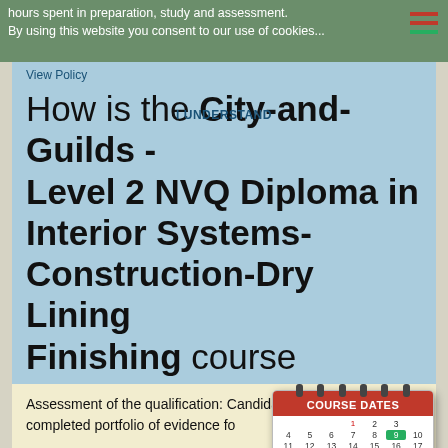hours spent in preparation, study and assessment. By using this website you consent to our use of cookies...
View Policy
I UNDERSTAND
How is the City-and-Guilds - Level 2 NVQ Diploma in Interior Systems-Construction-Dry Lining Finishing course assessed?
Assessment of the qualification: Candidates must have a completed portfolio of evidence for each unit.
Aspects to be assessed through performance in the workplace
[Figure (illustration): A calendar widget with red header labeled COURSE DATES and a grid of dates]